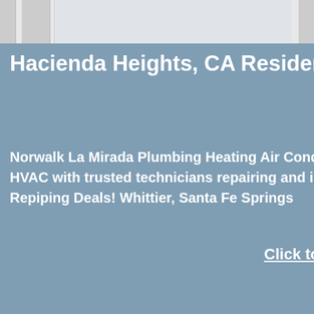Hacienda Heights, CA Residents - Call Condition
Norwalk La Mirada Plumbing Heating Air Conditioning - HVAC with trusted technicians repairing and installing 24 Repiping Deals! Whittier, Santa Fe Springs
Click to contact Norwa